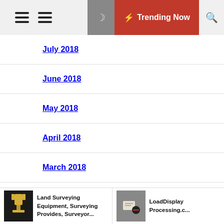Navigation bar with hamburger menus, moon icon, Trending Now, and search icon
July 2018
June 2018
May 2018
April 2018
March 2018
February 2018
January 2018
Land Surveying Equipment, Surveying Provides, Surveyor... | LoadDisplay Processing.c...